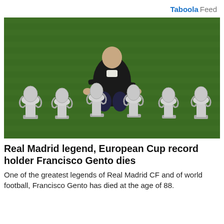Taboola Feed
[Figure (photo): An elderly man kneeling on a green football pitch, posing with six large silver European Cup trophies lined up in front of him. The man is wearing a dark jacket.]
Real Madrid legend, European Cup record holder Francisco Gento dies
One of the greatest legends of Real Madrid CF and of world football, Francisco Gento has died at the age of 88.